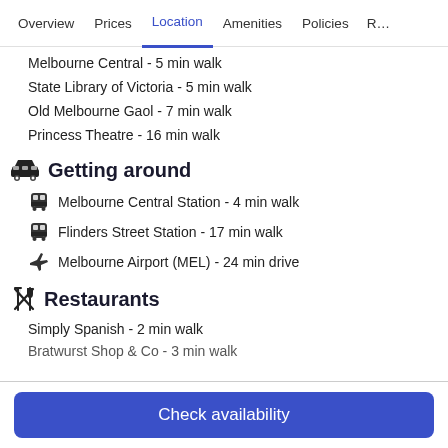Overview  Prices  Location  Amenities  Policies  R…
Melbourne Central - 5 min walk
State Library of Victoria - 5 min walk
Old Melbourne Gaol - 7 min walk
Princess Theatre - 16 min walk
Getting around
Melbourne Central Station - 4 min walk
Flinders Street Station - 17 min walk
Melbourne Airport (MEL) - 24 min drive
Restaurants
Simply Spanish - 2 min walk
Bratwurst Shop & Co - 3 min walk
Check availability